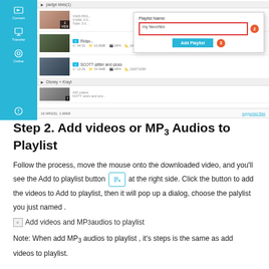[Figure (screenshot): Application UI screenshot showing a media library with file list, left sidebar with Convert/Transfer/Online buttons, and a dialog popup with 'Playlist Name:' field containing 'my favorites', with numbered badges 2 and 3, and an Add Playlist button]
Step 2. Add videos or MP3 Audios to Playlist
Follow the process, move the mouse onto the downloaded video, and you'll see the Add to playlist button at the right side. Click the button to add the videos to Add to playlist, then it will pop up a dialog, choose the palylist you just named .
[Figure (screenshot): Broken image placeholder with alt text: Add videos and MP3 audios to playlist]
Note: When add MP3 audios to playlist , it's steps is the same as add videos to playlist.